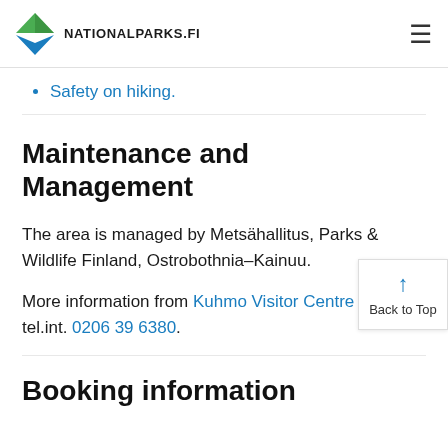NATIONALPARKS.FI
Safety on hiking.
Maintenance and Management
The area is managed by Metsähallitus, Parks & Wildlife Finland, Ostrobothnia–Kainuu.
More information from Kuhmo Visitor Centre Petola, tel.int. 0206 39 6380.
Booking information